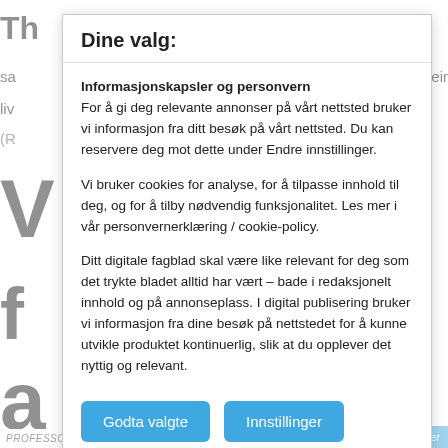Dine valg:
Informasjonskapsler og personvern
For å gi deg relevante annonser på vårt nettsted bruker vi informasjon fra ditt besøk på vårt nettsted. Du kan reservere deg mot dette under Endre innstillinger.
Vi bruker cookies for analyse, for å tilpasse innhold til deg, og for å tilby nødvendig funksjonalitet. Les mer i vår personvernerklæring / cookie-policy.
Ditt digitale fagblad skal være like relevant for deg som det trykte bladet alltid har vært – bade i redaksjonelt innhold og på annonseplass. I digital publisering bruker vi informasjon fra dine besøk på nettstedet for å kunne utvikle produktet kontinuerlig, slik at du opplever det nyttig og relevant.
Godta valgte
Innstillinger
PROFESSOR EMERITUS, CENTER FOR CIVIL
Innstillinger for informasjonskapsler